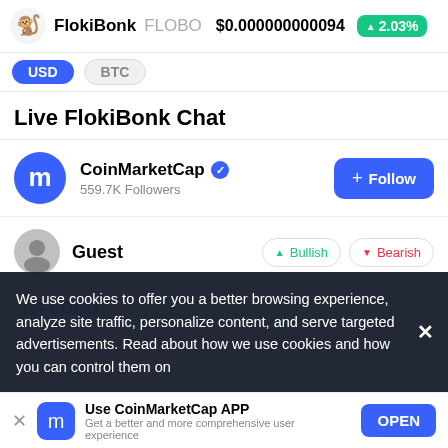FlokiBonk FLOBO $0.000000000094 ▲2.03%
USD BTC
Live FlokiBonk Chat
[Figure (screenshot): CoinMarketCap profile with 559.7K Followers and Follow button]
[Figure (screenshot): Guest user row with Bullish and Bearish sentiment buttons]
$FLOBO
We use cookies to offer you a better browsing experience, analyze site traffic, personalize content, and serve targeted advertisements. Read about how we use cookies and how you can control them on
Use CoinMarketCap APP
Get a better and more comprehensive user experience